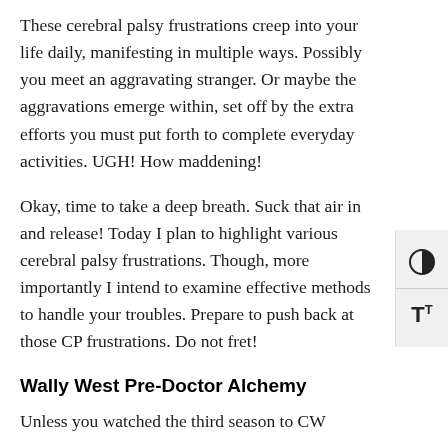These cerebral palsy frustrations creep into your life daily, manifesting in multiple ways. Possibly you meet an aggravating stranger. Or maybe the aggravations emerge within, set off by the extra efforts you must put forth to complete everyday activities. UGH! How maddening!
Okay, time to take a deep breath. Suck that air in and release! Today I plan to highlight various cerebral palsy frustrations. Though, more importantly I intend to examine effective methods to handle your troubles. Prepare to push back at those CP frustrations. Do not fret!
Wally West Pre-Doctor Alchemy
Unless you watched the third season to CW